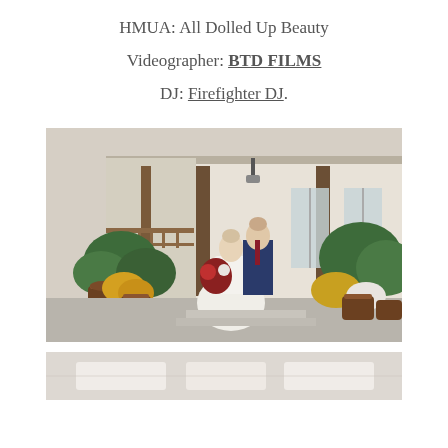HMUA: All Dolled Up Beauty
Videographer: BTD FILMS
DJ: Firefighter DJ.
[Figure (photo): Wedding couple posing in front of a barn venue with white walls, wooden pillars, and potted flowers. Bride in white layered gown holding a bouquet, groom in navy suit.]
[Figure (photo): Partial view of a white interior space, likely the wedding venue interior, visible at the bottom of the page.]